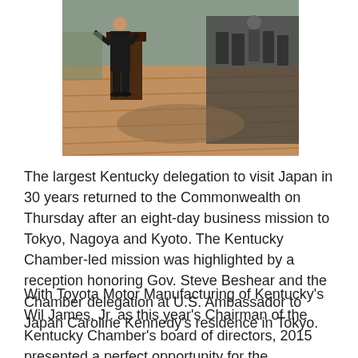[Figure (photo): Indoor reception event photo showing a person speaking at a wooden podium in a room with hardwood floors, with a crowd of formally dressed attendees standing in the background.]
The largest Kentucky delegation to visit Japan in 30 years returned to the Commonwealth on Thursday after an eight-day business mission to Tokyo, Nagoya and Kyoto. The Kentucky Chamber-led mission was highlighted by a reception honoring Gov. Steve Beshear and the Chamber delegation at U.S. Ambassador to Japan Caroline Kennedy's residence in Tokyo.
With Toyota Motor Manufacturing of Kentucky's Wil James, Jr. as this year's Chairman of the Kentucky Chamber's board of directors, 2015 presented a perfect opportunity for the